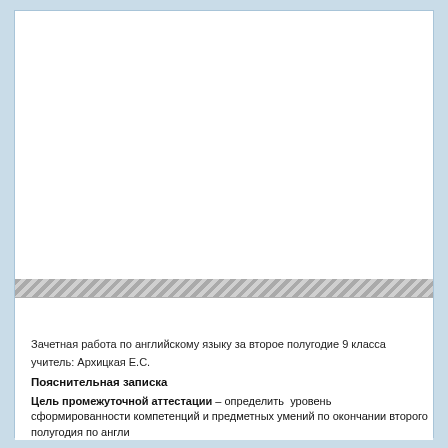Зачетная работа по английскому языку за второе полугодие 9 класса
учитель: Архицкая Е.С.
Пояснительная записка
Цель промежуточной аттестации – определить уровень сформированности компетенций и предметных умений по окончании второго полугодия по англи...